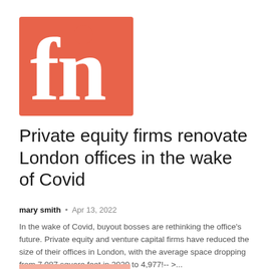[Figure (logo): Financial News (FN) logo — orange/salmon square with large white 'fn' letters in a serif font]
Private equity firms renovate London offices in the wake of Covid
mary smith  •  Apr 13, 2022
In the wake of Covid, buyout bosses are rethinking the office's future. Private equity and venture capital firms have reduced the size of their offices in London, with the average space dropping from 7,087 square feet in 2020 to 4,977!-- >...